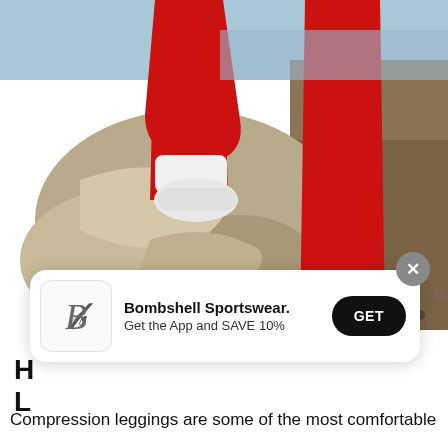[Figure (photo): Person wearing red compression leggings and white sneakers/socks, stepping on a large rock at a pebble beach. Only the lower body is visible. The background shows a rocky, pebbly shoreline.]
Bombshell Sportswear. Get the App and SAVE 10%
H
L
Compression leggings are some of the most comfortable